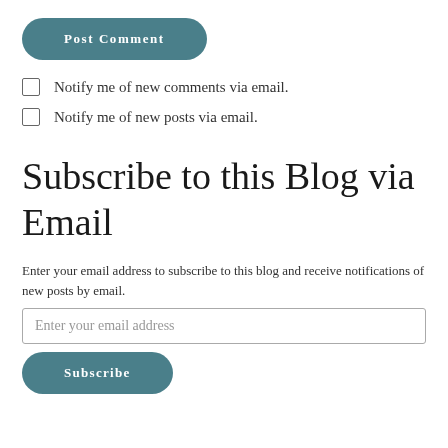Post Comment
Notify me of new comments via email.
Notify me of new posts via email.
Subscribe to this Blog via Email
Enter your email address to subscribe to this blog and receive notifications of new posts by email.
Enter your email address
Subscribe